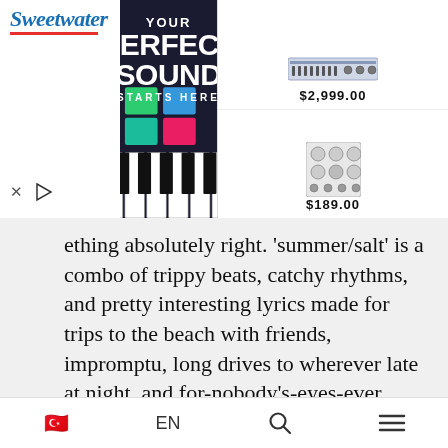[Figure (screenshot): Sweetwater advertisement banner: 'YOUR PERFECT SOUND STARTS HERE' with keyboard/synthesizer instruments and prices $2,999.00 and $189.00]
ething absolutely right. 'summer/salt' is a combo of trippy beats, catchy rhythms, and pretty interesting lyrics made for trips to the beach with friends, impromptu, long drives to wherever late at night, and for-nobody's-eyes-ever dance routines in your room.
All ten tracks apparently have their own story to tell (and can be accompanied by
🇹🇷  EN  🔍  ≡